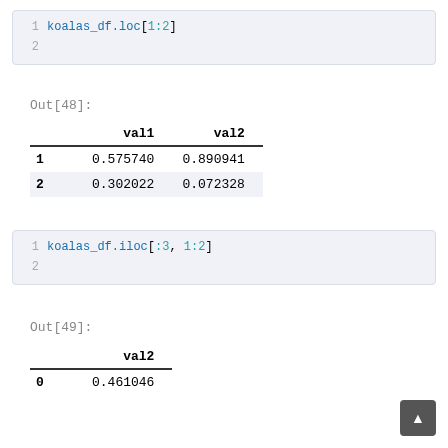koalas_df.loc[1:2]
Out[48]:
|  | val1 | val2 |
| --- | --- | --- |
| 1 | 0.575740 | 0.890941 |
| 2 | 0.302022 | 0.072328 |
koalas_df.iloc[:3, 1:2]
Out[49]:
|  | val2 |
| --- | --- |
| 0 | 0.461046 |